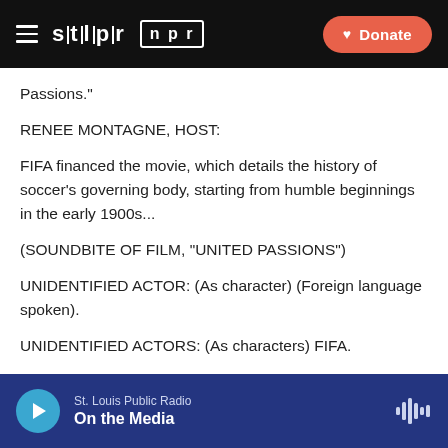stlpr | npr — Donate
Passions."
RENEE MONTAGNE, HOST:
FIFA financed the movie, which details the history of soccer's governing body, starting from humble beginnings in the early 1900s...
(SOUNDBITE OF FILM, "UNITED PASSIONS")
UNIDENTIFIED ACTOR: (As character) (Foreign language spoken).
UNIDENTIFIED ACTORS: (As characters) FIFA.
St. Louis Public Radio — On the Media